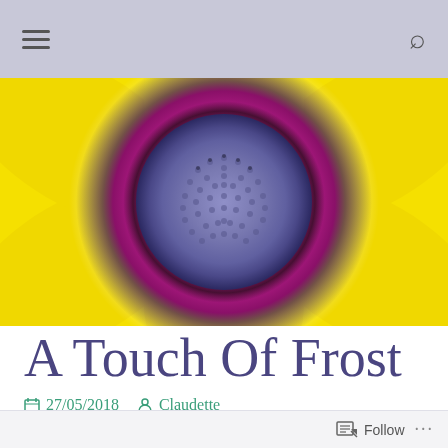Navigation bar with hamburger menu and search icon
[Figure (photo): Close-up macro photograph of a flower with yellow petals, a magenta/purple inner ring, and a blue-purple center disc]
A Touch Of Frost
27/05/2018  Claudette
Follow  ...